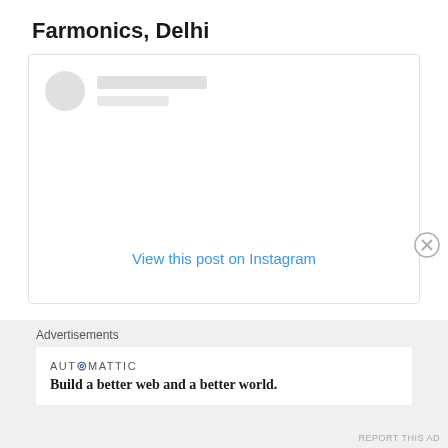Farmonics, Delhi
[Figure (screenshot): Instagram embed placeholder with profile avatar circles and 'View this post on Instagram' link]
Advertisements
[Figure (logo): Automattic logo with tagline: Build a better web and a better world.]
REPORT THIS AD